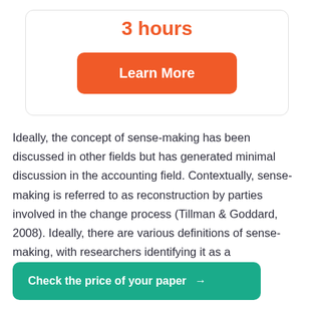3 hours
[Figure (other): Orange 'Learn More' button]
Ideally, the concept of sense-making has been discussed in other fields but has generated minimal discussion in the accounting field. Contextually, sense-making is referred to as reconstruction by parties involved in the change process (Tillman & Goddard, 2008). Ideally, there are various definitions of sense-making, with researchers identifying it as a
rs terming it as the
ter understanding
[Figure (other): Teal 'Check the price of your paper →' call-to-action button]